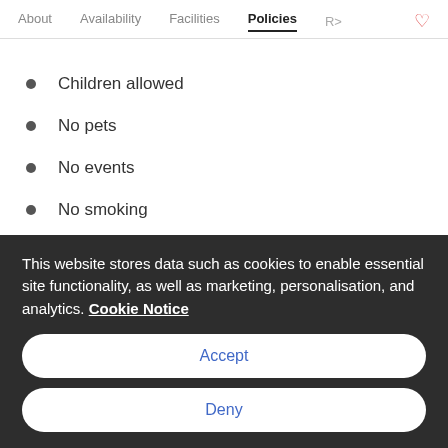About   Availability   Facilities   Policies   >   ♡
Children allowed
No pets
No events
No smoking
Max guests: 10
This website stores data such as cookies to enable essential site functionality, as well as marketing, personalisation, and analytics. Cookie Notice
Accept
Deny